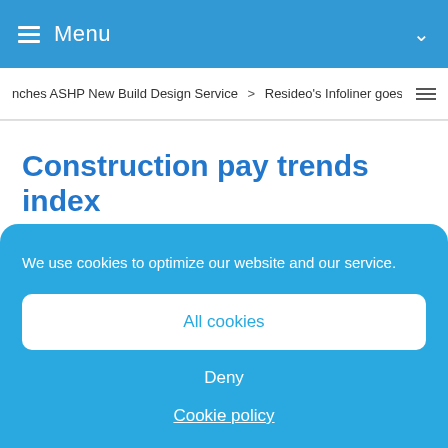Menu
nches ASHP New Build Design Service   >  Resideo's Infoliner goes on tou
Construction pay trends index
Date: 01 Nov 2016
We use cookies to optimize our website and our service.
All cookies
Deny
Cookie policy